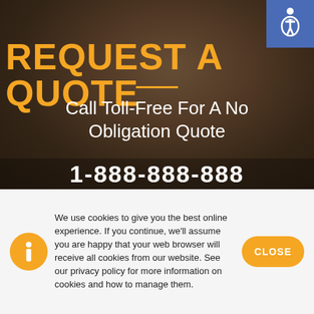[Figure (photo): Dark background photo of a smiling person, used as hero image behind insurance quote call-to-action]
REQUEST A QUOTE
Call Toll-Free For A No Obligation Quote
1-888-888-888
We use cookies to give you the best online experience. If you continue, we'll assume you are happy that your web browser will receive all cookies from our website. See our privacy policy for more information on cookies and how to manage them.
CLOSE